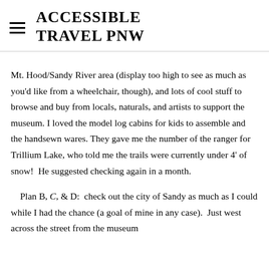ACCESSIBLE TRAVEL PNW
Mt. Hood/Sandy River area (display too high to see as much as you'd like from a wheelchair, though), and lots of cool stuff to browse and buy from locals, naturals, and artists to support the museum. I loved the model log cabins for kids to assemble and the handsewn wares. They gave me the number of the ranger for Trillium Lake, who told me the trails were currently under 4' of snow!  He suggested checking again in a month.
    Plan B, C, & D:  check out the city of Sandy as much as I could while I had the chance (a goal of mine in any case).  Just west across the street from the museum